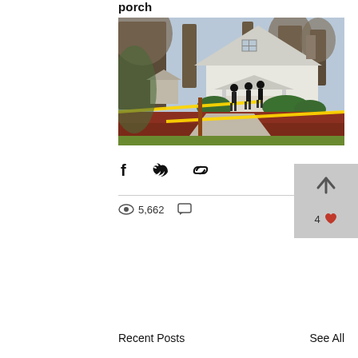porch
[Figure (photo): Crime scene photo showing a white house with a covered porch, bare trees, red brick retaining wall with yellow crime scene tape stretched across the foreground. Several people in dark clothing visible near the house entrance.]
Share via Facebook, Twitter, and link icons
5,662 views, comment icon
4 likes
Recent Posts
See All